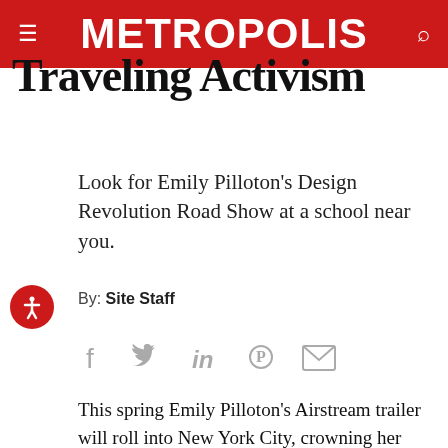METROPOLIS
Traveling Activism
Look for Emily Pilloton's Design Revolution Road Show at a school near you.
By: Site Staff
[Figure (other): Social media share icons: Facebook, Twitter, LinkedIn, Pinterest, Email]
This spring Emily Pilloton's Airstream trailer will roll into New York City, crowning her triumphant Design Revolution Road Show.